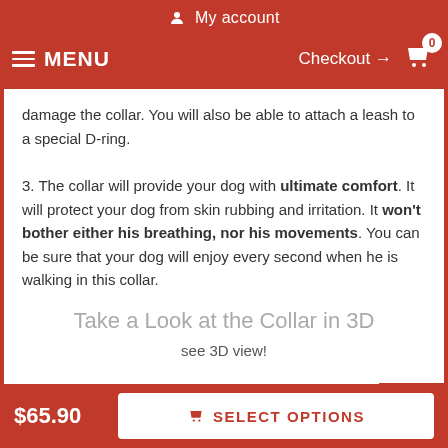My account
MENU  Checkout → 0
damage the collar. You will also be able to attach a leash to a special D-ring.
3. The collar will provide your dog with ultimate comfort. It will protect your dog from skin rubbing and irritation. It won't bother either his breathing, nor his movements. You can be sure that your dog will enjoy every second when he is walking in this collar.
Take a Look at the Collar in 3D
see 3D view!
$65.90  SELECT OPTIONS